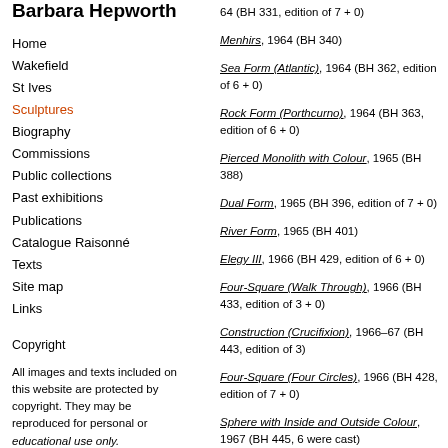Barbara Hepworth
Home
Wakefield
St Ives
Sculptures
Biography
Commissions
Public collections
Past exhibitions
Publications
Catalogue Raisonné
Texts
Site map
Links
Copyright
All images and texts included on this website are protected by copyright. They may be reproduced for personal or educational use only.
64 (BH 331, edition of 7 + 0)
Menhirs, 1964 (BH 340)
Sea Form (Atlantic), 1964 (BH 362, edition of 6 + 0)
Rock Form (Porthcurno), 1964 (BH 363, edition of 6 + 0)
Pierced Monolith with Colour, 1965 (BH 388)
Dual Form, 1965 (BH 396, edition of 7 + 0)
River Form, 1965 (BH 401)
Elegy III, 1966 (BH 429, edition of 6 + 0)
Four-Square (Walk Through), 1966 (BH 433, edition of 3 + 0)
Construction (Crucifixion), 1966–67 (BH 443, edition of 3)
Four-Square (Four Circles), 1966 (BH 428, edition of 7 + 0)
Sphere with Inside and Outside Colour, 1967 (BH 445, 6 were cast)
Three Forms Vertical (Offering), 1967 (BH 452)
Moon Form, 1968 (BH 456)
Two Figures, 1968 (BH 460, edition of 7 + 0)